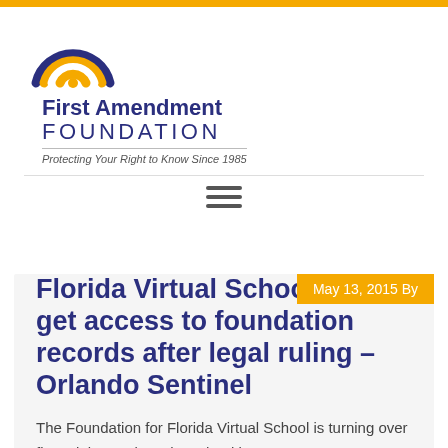[Figure (logo): First Amendment Foundation logo with rainbow arc graphic and text: First Amendment FOUNDATION, Protecting Your Right to Know Since 1985]
≡
May 13, 2015 By
Florida Virtual School will get access to foundation records after legal ruling – Orlando Sentinel
The Foundation for Florida Virtual School is turning over financial records to the school in response to a court order, as the struggle over who controls the